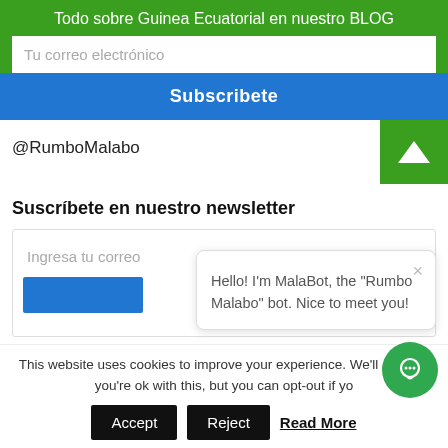Todo sobre Guinea Ecuatorial en nuestro BLOG
Tu correo electrónico
Subscribete
@RumboMalabo
Suscríbete en nuestro newsletter
Ingresa tu correo
Hello! I'm MalaBot, the "Rumbo Malabo" bot. Nice to meet you!
This website uses cookies to improve your experience. We'll assume you're ok with this, but you can opt-out if yo
Accept
Reject
Read More